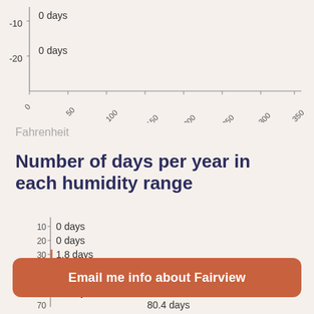[Figure (bar-chart): Partial horizontal bar chart showing temperature ranges: -10 row = 0 days, -20 row = 0 days, with x-axis ticks 0,50,100,150,200,250,300,350]
Fahrenheit
Number of days per year in each humidity range
[Figure (bar-chart): Number of days per year in each humidity range (partial)]
Email me info about Fairview